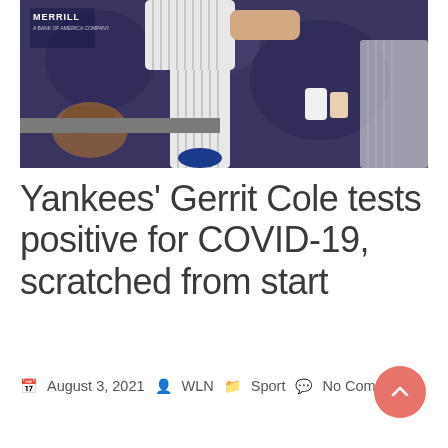[Figure (photo): Photo of a baseball player in New York Yankees pinstripe uniform sitting in dugout with a baseball glove nearby. Merrill sponsor logo visible in background.]
Yankees' Gerrit Cole tests positive for COVID-19, scratched from start
August 3, 2021  WLN  Sport  No Comment